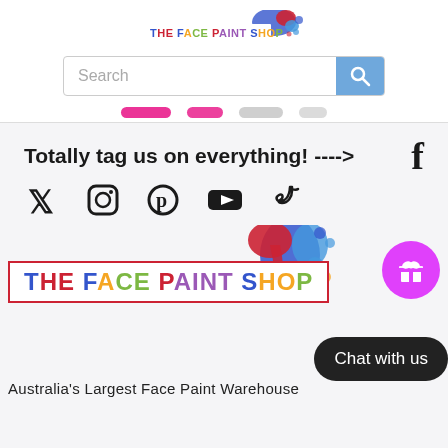[Figure (logo): The Face Paint Shop logo - colorful text with paint splash graphic]
[Figure (screenshot): Search bar with blue search button]
Totally tag us on everything! ---->
[Figure (infographic): Social media icons: Facebook, Twitter, Instagram, Pinterest, YouTube, TikTok]
[Figure (logo): The Face Paint Shop large logo with paint splash]
[Figure (other): Gift icon button (magenta circle)]
Chat with us
Australia's Largest Face Paint Warehouse